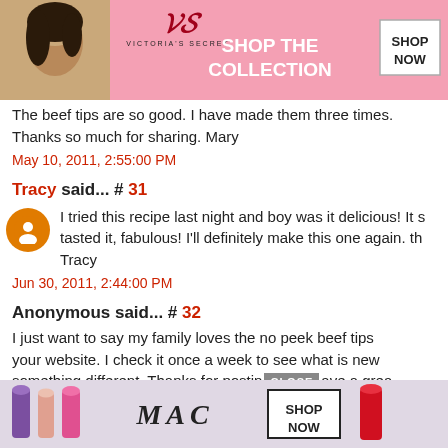[Figure (photo): Victoria's Secret advertisement banner with woman photo, VS logo, 'SHOP THE COLLECTION' text, and SHOP NOW button]
The beef tips are so good. I have made them three times. Thanks so much for sharing. Mary
May 10, 2011, 2:55:00 PM
Tracy said... # 31
I tried this recipe last night and boy was it delicious! It s... tasted it, fabulous! I'll definitely make this one again. th... Tracy
Jun 30, 2011, 2:44:00 PM
Anonymous said... # 32
I just want to say my family loves the no peek beef tips... your website. I check it once a week to see what is new... something different. Thanks for posting... ave a grea...
[Figure (photo): MAC cosmetics advertisement with lipsticks, MAC logo, SHOP NOW button, and CLOSE button overlay]